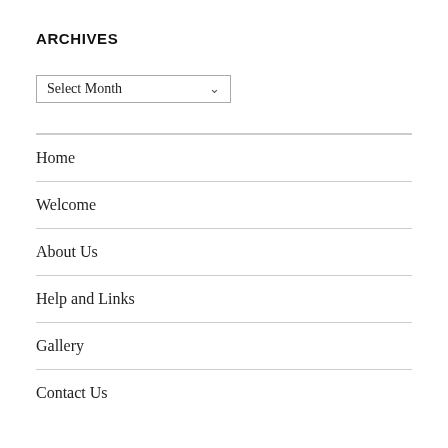ARCHIVES
Select Month
Home
Welcome
About Us
Help and Links
Gallery
Contact Us